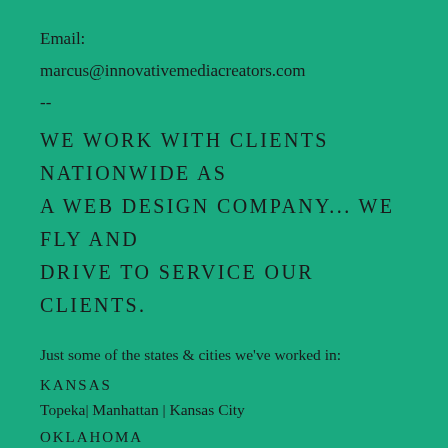Email:
marcus@innovativemediacreators.com
--
WE WORK WITH CLIENTS NATIONWIDE AS A WEB DESIGN COMPANY... WE FLY AND DRIVE TO SERVICE OUR CLIENTS.
Just some of the states & cities we've worked in:
KANSAS
Topeka| Manhattan | Kansas City
OKLAHOMA
Tulsa | Owasso | Broken Arrow